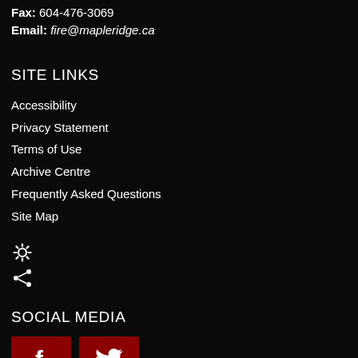Fax: 604-476-3069
Email: fire@mapleridge.ca
SITE LINKS
Accessibility
Privacy Statement
Terms of Use
Archive Centre
Frequently Asked Questions
Site Map
[Figure (other): Settings gear icon and share icon]
SOCIAL MEDIA
[Figure (other): Facebook and Twitter social media icon buttons in dark red]